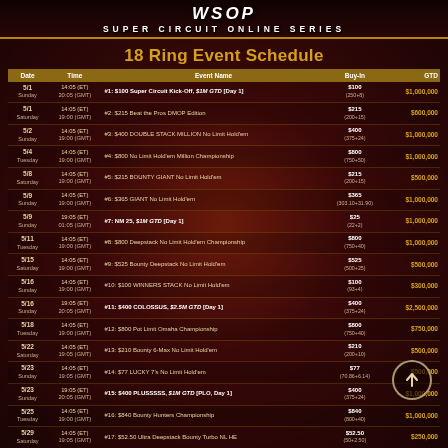WSOP SUPER CIRCUIT ONLINE SERIES
18 Ring Event Schedule
| Date | Time | Event Name | Buy-In | GTD |
| --- | --- | --- | --- | --- |
| 5/1 Sunday | 14:05 (ET) 20:05 (GMT) | #1: $100 Super Circuit Kick-Off, $1M GTD [Day 1] | $100 (250+8) | $1,000,000 |
| 5/1 Saturday | 14:05 (ET) 19:00 (GMT) | #2: $215 Beat the Pros DMOP Edition | $215 (200+15) | $600,000 |
| 5/2 Sunday | 14:05 (ET) 19:00 (GMT) | #3: $400 DOUBLE STACK MILLION No Limit Hold'em | $400 (375+24) | $1,000,000 |
| 5/4 Tuesday | 14:05 (ET) 19:00 (GMT) | #4: $800 No Limit Hold'em Million Championship | $800 (750+50) | $1,000,000 |
| 5/8 Saturday | 14:05 (ET) 19:00 (GMT) | #5: $215 BOUNTY GIANT No Limit Hold'em | $215 (200+15) | $500,000 |
| 5/9 Sunday | 14:05 (ET) 19:00 (GMT) | #6: $365 GIANT No Limit Hold'em | $365 (303.10+31.90) | $1,000,000 |
| 5/9 Sunday | 19:05 (ET) 01:05 (GMT) | #7: NM 25, $1M GTD [Day 1] | $25 (22+2) | $1,000,000 |
| 5/11 Tuesday | 14:05 (ET) 19:00 (GMT) | #8: $800 Deepstack No Limit Hold'em Championship | $800 (750+40) | $1,000,000 |
| 5/15 Saturday | 14:05 (ET) 19:00 (GMT) | #9: $525 Bounty Deepstack No Limit Hold'em | $525 (500+25) | $500,000 |
| 5/16 Sunday | 14:05 (ET) 19:00 (GMT) | #10: $100 WINNERS STACK No Limit Hold'em | $100 (93+4) | $300,000 |
| 5/16 Sunday | 19:05 (ET) 20:05 (GMT) | #11: $400 COLOSSUS, $2.5M GTD [Day 1] | $400 (375+24) | $2,500,000 |
| 5/18 Tuesday | 14:05 (ET) 19:00 (GMT) | #12: $800 Pot Limit Omaha Championship | $800 (750+40) | $750,000 |
| 5/22 Saturday | 14:05 (ET) 19:05 (GMT) | #13: $210 Bounty 6-Max No Limit Hold'em | $210 (200+10) | $500,000 |
| 5/23 Sunday | 14:05 (ET) 19:05 (GMT) | #14: $77 LUCKY 7's No Limit Hold'em | $77 (70.86+6.14) | $500,000 |
| 5/23 Sunday | 19:05 (ET) 20:05 (GMT) | #15: $400 PLUSSSSS, $1M GTD [PLO, Day 1] | $400 (375+24) | $1,000,000 |
| 5/25 Tuesday | 14:05 (ET) 19:00 (GMT) | #16: $840 Bounty Hunters Championship | $840 (800+40) | $1,000,000 |
| 5/29 Saturday | 14:05 (ET) 19:05 (GMT) | #17: $52.50 Ultra Deepstack Bounty Turbo NL HE | $52.50 (50+2.50) | $250,000 |
| 5/30 Sunday | 14:05 (ET) 20:05 (GMT) | #18: $525 Main Event, $5M GTD [Day 1] | $525 (500+25) | $5,000,000 |